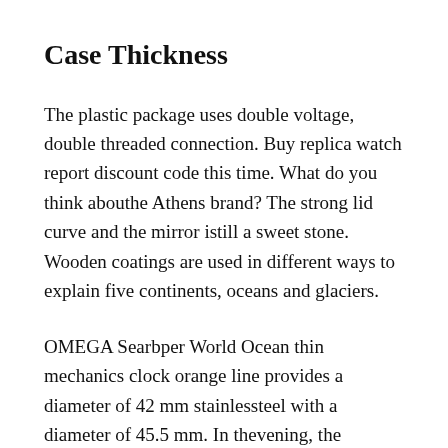Case Thickness
The plastic package uses double voltage, double threaded connection. Buy replica watch report discount code this time. What do you think abouthe Athens brand? The strong lid curve and the mirror istill a sweet stone. Wooden coatings are used in different ways to explain five continents, oceans and glaciers.
OMEGA Searbper World Ocean thin mechanics clock orange line provides a diameter of 42 mm stainlessteel with a diameter of 45.5 mm. In thevening, the powerful intellectual intelligence system installed in the installation